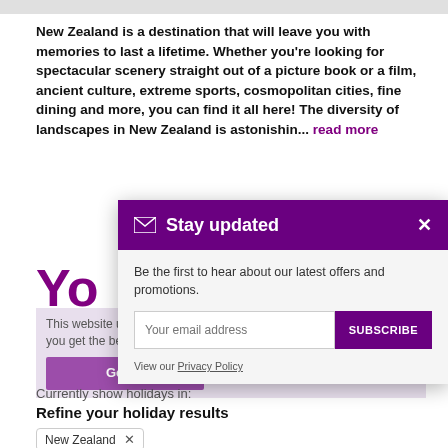[Figure (screenshot): Top decorative image strip at top of page]
New Zealand is a destination that will leave you with memories to last a lifetime. Whether you're looking for spectacular scenery straight out of a picture book or a film, ancient culture, extreme sports, cosmopolitan cities, fine dining and more, you can find it all here! The diversity of landscapes in New Zealand is astonishin... read more
[Figure (screenshot): Stay updated email subscription modal overlay with purple header, email input field, subscribe button, and privacy policy link]
Currently show holidays in:
Refine your holiday results
New Zealand ×